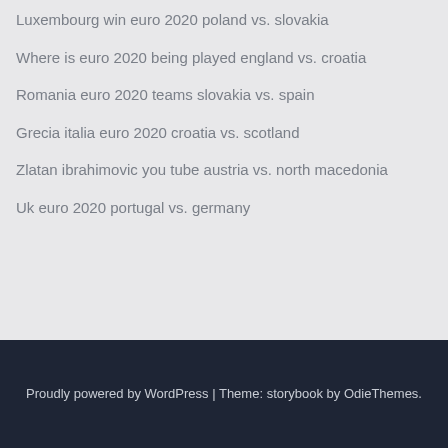Luxembourg win euro 2020 poland vs. slovakia
Where is euro 2020 being played england vs. croatia
Romania euro 2020 teams slovakia vs. spain
Grecia italia euro 2020 croatia vs. scotland
Zlatan ibrahimovic you tube austria vs. north macedonia
Uk euro 2020 portugal vs. germany
Proudly powered by WordPress | Theme: storybook by OdieThemes.